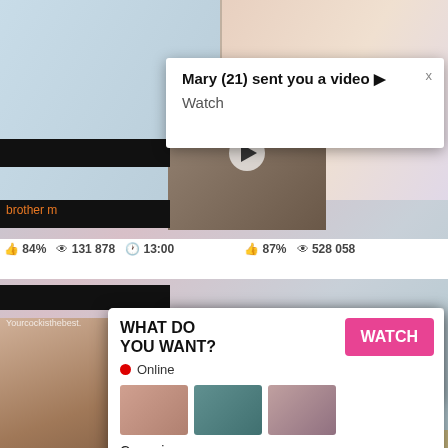[Figure (screenshot): Adult content website screenshot showing video thumbnails, overlapping notification popups, and advertisements. Multiple blurred/explicit thumbnail images visible. Two 'Mary (21) sent you a video' notification popups. A live chat notification from 'Jeniffer 2000'. A 'WHAT DO YOU WANT? WATCH' advertisement with text 'Cumming, ass fucking, squirt or... ADS'. Video statistics showing 84%, 131 878 views, 13:00 duration, 87%, 528 058 views.]